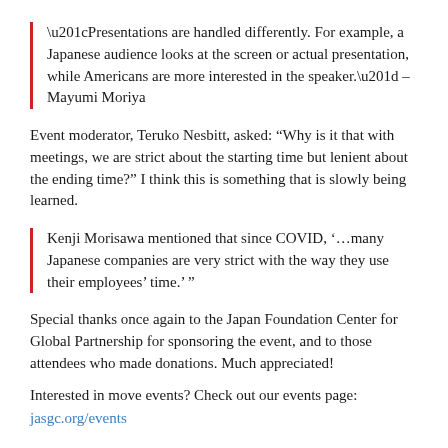“Presentations are handled differently. For example, a Japanese audience looks at the screen or actual presentation, while Americans are more interested in the speaker.” – Mayumi Moriya
Event moderator, Teruko Nesbitt, asked: “Why is it that with meetings, we are strict about the starting time but lenient about the ending time?” I think this is something that is slowly being learned.
Kenji Morisawa mentioned that since COVID, ‘…many Japanese companies are very strict with the way they use their employees’ time.’”
Special thanks once again to the Japan Foundation Center for Global Partnership for sponsoring the event, and to those attendees who made donations. Much appreciated!
Interested in move events? Check out our events page:
jasgc.org/events